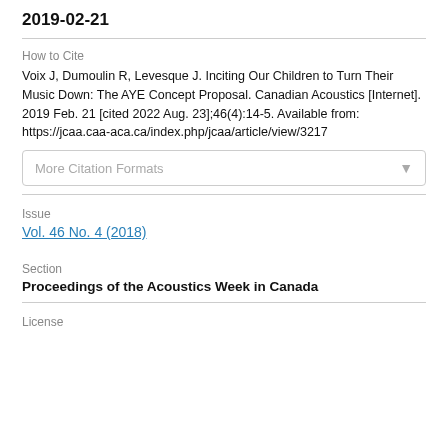2019-02-21
How to Cite
Voix J, Dumoulin R, Levesque J. Inciting Our Children to Turn Their Music Down: The AYE Concept Proposal. Canadian Acoustics [Internet]. 2019 Feb. 21 [cited 2022 Aug. 23];46(4):14-5. Available from: https://jcaa.caa-aca.ca/index.php/jcaa/article/view/3217
More Citation Formats
Issue
Vol. 46 No. 4 (2018)
Section
Proceedings of the Acoustics Week in Canada
License